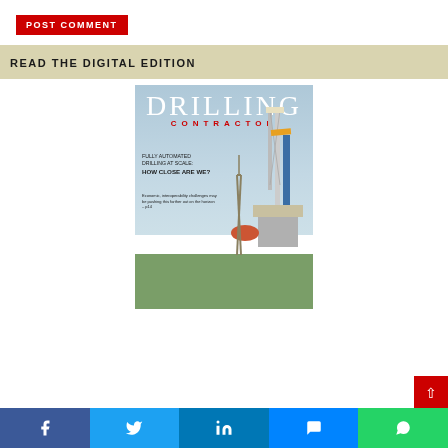POST COMMENT
READ THE DIGITAL EDITION
[Figure (photo): Cover of Drilling Contractor magazine featuring a drilling rig with headline 'FULLY AUTOMATED DRILLING AT SCALE: HOW CLOSE ARE WE?' and subheadline 'Economic, interoperability challenges may be pushing this farther out on the horizon – p14']
Facebook | Twitter | LinkedIn | Messenger | WhatsApp